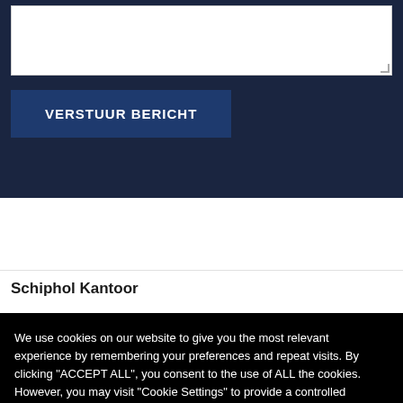[Figure (screenshot): White textarea input box at top of dark navy form section]
VERSTUUR BERICHT
Schiphol Kantoor
We use cookies on our website to give you the most relevant experience by remembering your preferences and repeat visits. By clicking "ACCEPT ALL", you consent to the use of ALL the cookies. However, you may visit "Cookie Settings" to provide a controlled consent.
Cookie Settings
REJECT ALL
ACCEPT ALL